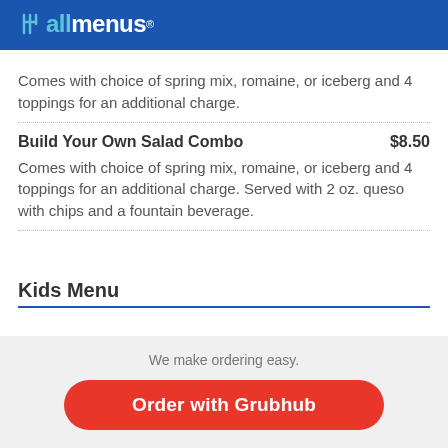allmenus
Comes with choice of spring mix, romaine, or iceberg and 4 toppings for an additional charge.
Build Your Own Salad Combo  $8.50
Comes with choice of spring mix, romaine, or iceberg and 4 toppings for an additional charge. Served with 2 oz. queso with chips and a fountain beverage.
Kids Menu
We make ordering easy.
Order with Grubhub